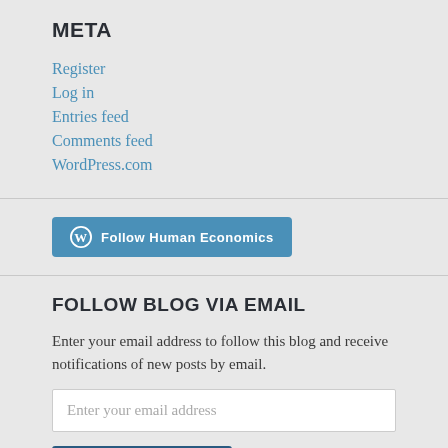META
Register
Log in
Entries feed
Comments feed
WordPress.com
[Figure (other): Follow Human Economics button with WordPress logo]
FOLLOW BLOG VIA EMAIL
Enter your email address to follow this blog and receive notifications of new posts by email.
Enter your email address (input field)
Follow
Join 233 other followers